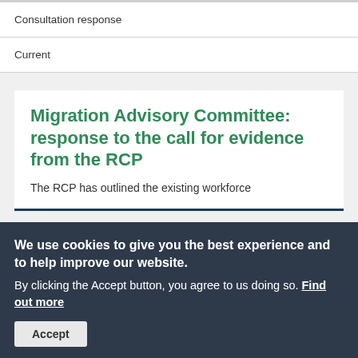Consultation response
Current
Migration Advisory Committee: response to the call for evidence from the RCP
The RCP has outlined the existing workforce
We use cookies to give you the best experience and to help improve our website. By clicking the Accept button, you agree to us doing so. Find out more